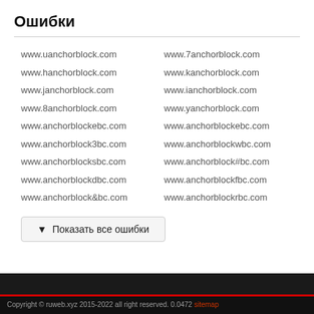Ошибки
www.uanchorblock.com
www.hanchorblock.com
www.janchorblock.com
www.8anchorblock.com
www.anchorblockebc.com
www.anchorblock3bc.com
www.anchorblocksbc.com
www.anchorblockdbc.com
www.anchorblock&bc.com
www.7anchorblock.com
www.kanchorblock.com
www.ianchorblock.com
www.yanchorblock.com
www.anchorblockebc.com
www.anchorblockwbc.com
www.anchorblock#bc.com
www.anchorblockfbc.com
www.anchorblockrbc.com
▼  Показать все ошибки
Copyright © ruweb.xyz 2015-2022 all right reserved. 0.0472 sitemap